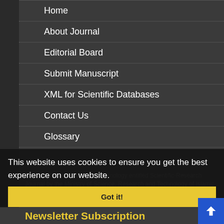Home
About Journal
Editorial Board
Submit Manuscript
XML for Scientific Databases
Contact Us
Glossary
Hard Copy Subscription
Sitemap
Latest News
Journal of Advanced Sport Technology entitled Scientific-Research Journal by the Ministry of Science, Research and Technology of Islamic Republic of Iran 2018-02-26
This website uses cookies to ensure you get the best experience on our website.
Got it!
Newsletter Subscription